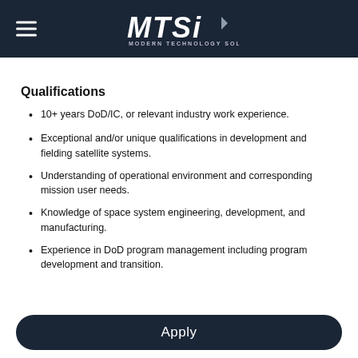MTSI Modern Technology Solutions, Inc.
Qualifications
10+ years DoD/IC, or relevant industry work experience.
Exceptional and/or unique qualifications in development and fielding satellite systems.
Understanding of operational environment and corresponding mission user needs.
Knowledge of space system engineering, development, and manufacturing.
Experience in DoD program management including program development and transition.